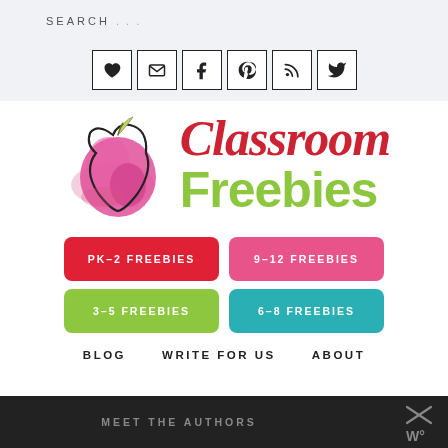SEARCH ...
[Figure (infographic): Social media icon bar with heart, email, Facebook, Pinterest, RSS, and Twitter icons in bordered boxes]
[Figure (logo): Classroom Freebies logo with watercolor pink apple illustration and text 'Classroom Freebies' in red and green]
PK-2 FREEBIES
9-12 FREEBIES
3-5 FREEBIES
6-8 FREEBIES
BLOG   WRITE FOR US   ABOUT
MEET THE AUTHORS